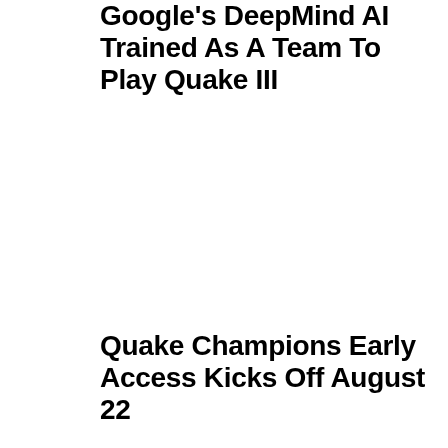Google's DeepMind AI Trained As A Team To Play Quake III
Quake Champions Early Access Kicks Off August 22